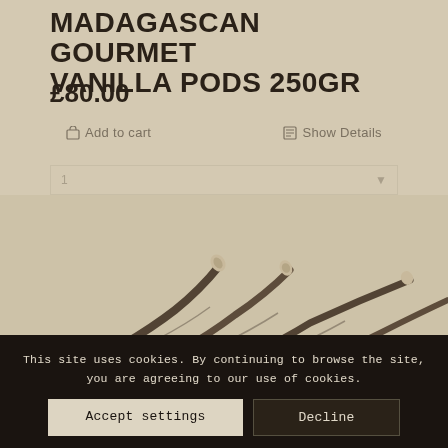MADAGASCAN GOURMET VANILLA PODS 250GR
£80.00
Add to cart
Show Details
[Figure (photo): Vanilla pods photograph showing dried dark Madagascan vanilla beans bundled together on a beige background]
This site uses cookies. By continuing to browse the site, you are agreeing to our use of cookies.
Accept settings
Decline